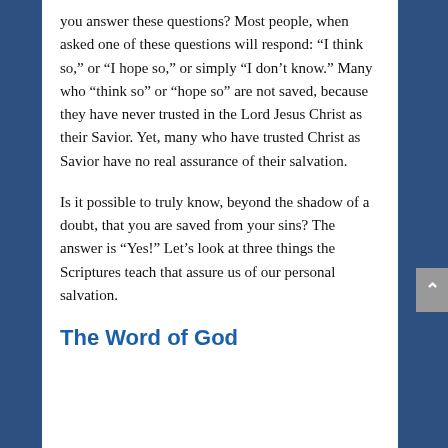you answer these questions? Most people, when asked one of these questions will respond: “I think so,” or “I hope so,” or simply “I don’t know.” Many who “think so” or “hope so” are not saved, because they have never trusted in the Lord Jesus Christ as their Savior. Yet, many who have trusted Christ as Savior have no real assurance of their salvation.
Is it possible to truly know, beyond the shadow of a doubt, that you are saved from your sins? The answer is “Yes!” Let’s look at three things the Scriptures teach that assure us of our personal salvation.
The Word of God